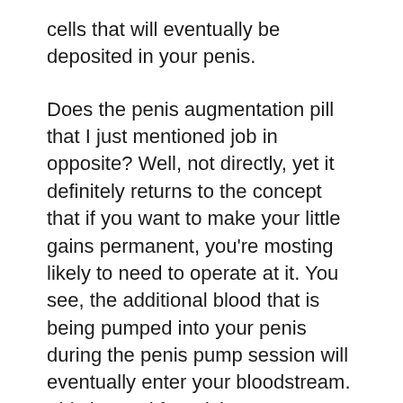cells that will eventually be deposited in your penis.
Does the penis augmentation pill that I just mentioned job in opposite? Well, not directly, yet it definitely returns to the concept that if you want to make your little gains permanent, you're mosting likely to need to operate at it. You see, the additional blood that is being pumped into your penis during the penis pump session will eventually enter your bloodstream. This is good for raising your circulation and total wellness, yet given that it is not something that is long-term it will take some time prior to you actually start seeing any type of results. That being said however, most guys that utilize penis pumps are really pleased with the results they